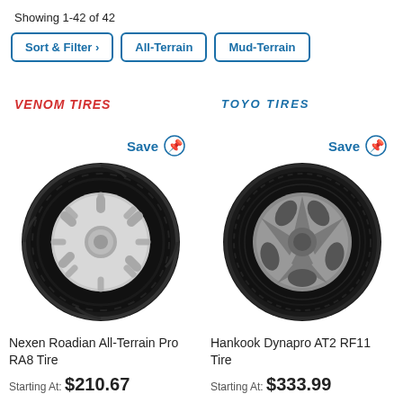Showing 1-42 of 42
Sort & Filter >
All-Terrain
Mud-Terrain
VENOM TIRES
TOYO TIRES
[Figure (photo): Nexen Roadian All-Terrain Pro RA8 Tire - black tire with chrome wheel]
Save
Nexen Roadian All-Terrain Pro RA8 Tire
Starting At: $210.67
[Figure (photo): Hankook Dynapro AT2 RF11 Tire - black tire with gray wheel]
Save
Hankook Dynapro AT2 RF11 Tire
Starting At: $333.99